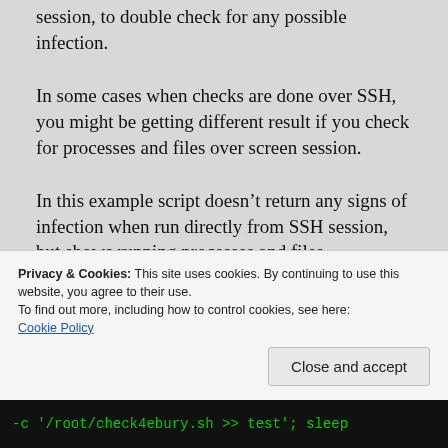session, to double check for any possible infection.
In some cases when checks are done over SSH, you might be getting different result if you check for processes and files over screen session.
In this example script doesn’t return any signs of infection when run directly from SSH session, but shows running processes and files
Privacy & Cookies: This site uses cookies. By continuing to use this website, you agree to their use.
To find out more, including how to control cookies, see here: Cookie Policy
-c '/root/check4ebury.sh >> test'; sleep